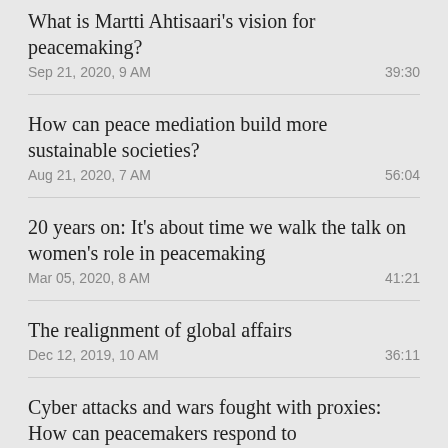What is Martti Ahtisaari's vision for peacemaking?
Sep 21, 2020, 9 AM	39:30
How can peace mediation build more sustainable societies?
Aug 21, 2020, 7 AM	56:04
20 years on: It's about time we walk the talk on women's role in peacemaking
Mar 05, 2020, 8 AM	41:21
The realignment of global affairs
Dec 12, 2019, 10 AM	36:11
Cyber attacks and wars fought with proxies: How can peacemakers respond to